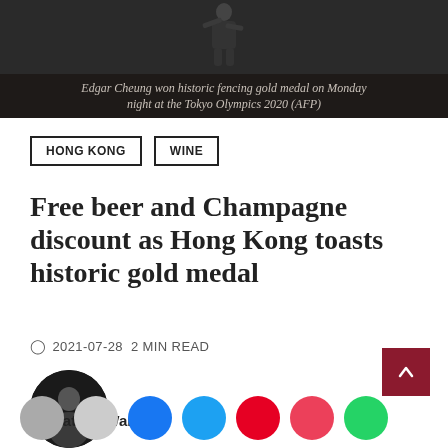[Figure (photo): Dark background photo of a fencer silhouette at Tokyo Olympics 2020]
Edgar Cheung won historic fencing gold medal on Monday night at the Tokyo Olympics 2020 (AFP)
HONG KONG   WINE
Free beer and Champagne discount as Hong Kong toasts historic gold medal
2021-07-28  2 MIN READ
[Figure (photo): Circular author photo of Natalie Wang]
Natalie Wang